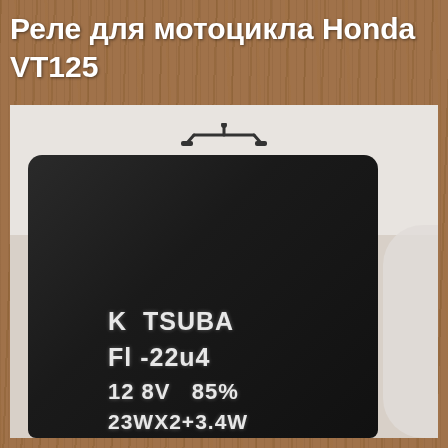Реле для мотоцикла Honda VT125
[Figure (photo): Close-up photo of a black electronic relay component for Honda VT125 motorcycle. The relay has white text on it reading: 'K TSUBA', 'Fl -22u4', '12 8V  85%', '23WX2+3.4W'. The relay is photographed against a white paper background showing a faint motorcycle handlebar logo and watermark text 'МОТОДЕТАЛИ'. The photo is placed on a wooden surface background.]